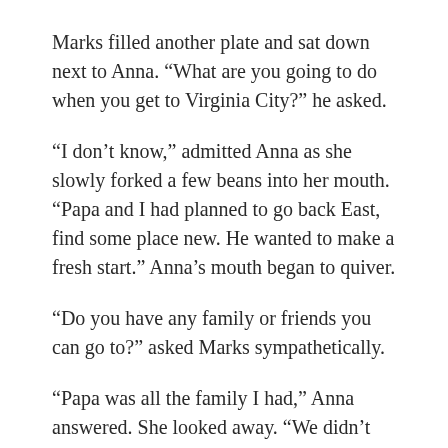Marks filled another plate and sat down next to Anna. “What are you going to do when you get to Virginia City?” he asked.
“I don’t know,” admitted Anna as she slowly forked a few beans into her mouth. “Papa and I had planned to go back East, find some place new. He wanted to make a fresh start.” Anna’s mouth began to quiver.
“Do you have any family or friends you can go to?” asked Marks sympathetically.
“Papa was all the family I had,” Anna answered. She looked away. “We didn’t have any friends.”
“Maybe you could get a fresh start in Virginia City,” suggested Marks. “I’ll bet you could get a job in a dress